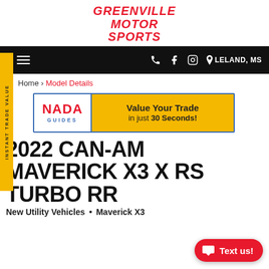[Figure (logo): Greenville Motor Sports logo in red italic bold text]
LELAND, MS
Home › Model Details
[Figure (infographic): NADA Guides banner - Value Your Trade in just 30 Seconds!]
2022 CAN-AM MAVERICK X3 X RS TURBO RR
New Utility Vehicles • Maverick X3